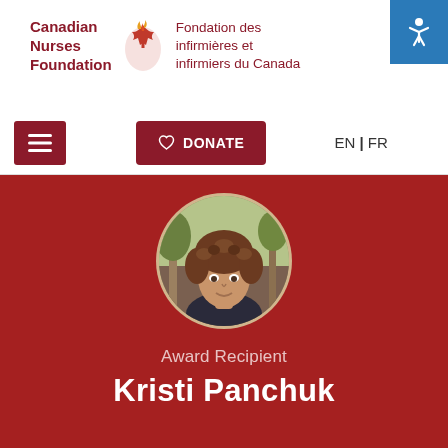[Figure (logo): Canadian Nurses Foundation / Fondation des infirmières et infirmiers du Canada logo with maple leaf flame icon]
Canadian Nurses Foundation | Fondation des infirmières et infirmiers du Canada — navigation bar with menu, donate, EN|FR, search, and accessibility buttons
[Figure (photo): Circular profile photo of Kristi Panchuk, a woman with curly brown hair, on a dark red background]
Award Recipient
Kristi Panchuk